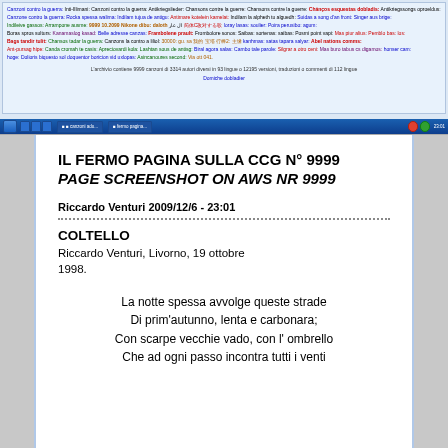[Figure (screenshot): Screenshot of a web page (CCG archive) showing multilingual song translations with colored text links in many languages, and a taskbar at the bottom]
IL FERMO PAGINA SULLA CCG N° 9999
PAGE SCREENSHOT ON AWS NR 9999
Riccardo Venturi 2009/12/6 - 23:01
COLTELLO
Riccardo Venturi, Livorno, 19 ottobre 1998.
La notte spessa avvolge queste strade
Di prim'autunno, lenta e carbonara;
Con scarpe vecchie vado, con l' ombrello
Che ad ogni passo incontra tutti i venti